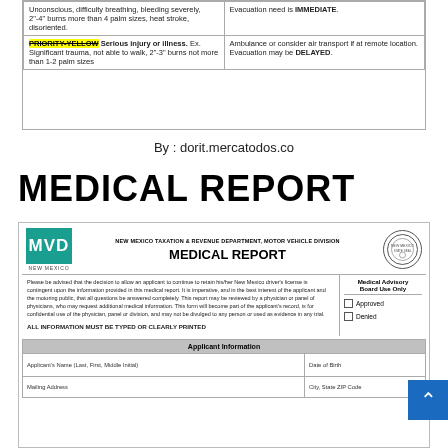| Condition | Evacuation |
| --- | --- |
| Unconscious, difficulty breathing, bleeding severely, 2"-4" burns more than 4 palm sizes, heat stroke, disoriented. | Evacuation need is IMMEDIATE. |
| PRIORITY-YELLOW Serious injury or illness. Ex. Significant trauma, not able to walk, 2"-3" burns not more than 1-2 palm sizes | Ambulance or consider air transport if at remote location. Evacuation may be DELAYED. |
By : dorit.mercatodos.co
MEDICAL REPORT
[Figure (other): New Mexico MVD Medical Report form header with MVD logo, state seal, department name, and form title MEDICAL REPORT]
Please be advised that the decision to allow an applicant to continue to retain his/her New Mexico driver's license is contingent upon the information provided in this medical report. It is imperative, and in the best interest of the applicant and the motoring public, that all questions be answered completely. This report may be reviewed by a physician or panel of physicians, who may request additional medical information. This form will become part of the applicant's record, is for confidential use of the physician, panel or division, and may not be divulged to any person or used as evidence in any trial.
ALL INFORMATION MUST BE TYPED OR CLEARLY PRINTED
| Applicant Information |
| --- |
| Applicant's Name (Last, First, Middle Initial) | Date of Birth |
| Mailing Address | City, State ZIP Code |